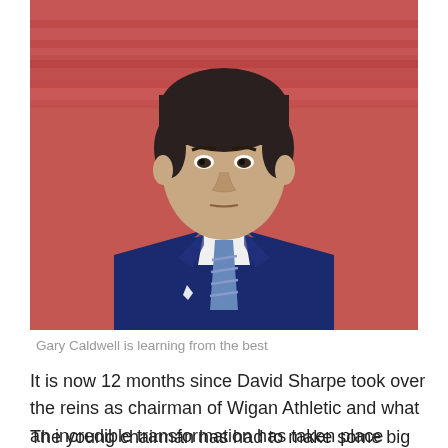[Figure (photo): A man in a dark navy blue suit and striped tie standing in front of red stadium seats, looking seriously at the camera. He has short dark hair and is wearing a small badge on his lapel.]
Gary Caldwell is learning from the best
It is now 12 months since David Sharpe took over the reins as chairman of Wigan Athletic and what an incredible transformation has taken place during that period.
The young chairman has had to make some big decisions